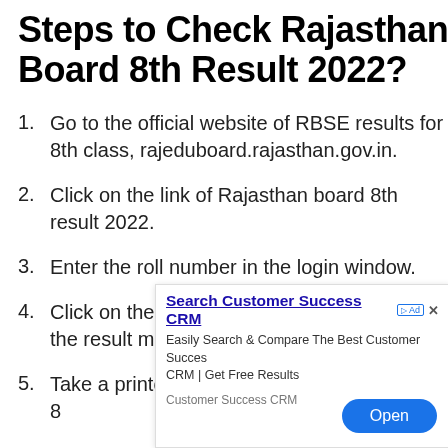Steps to Check Rajasthan Board 8th Result 2022?
Go to the official website of RBSE results for 8th class, rajeduboard.rajasthan.gov.in.
Click on the link of Rajasthan board 8th result 2022.
Enter the roll number in the login window.
Click on the Submit button and it will open the result mark sheet on screen.
Take a printout or screenshot of RBSE class 8
[Figure (screenshot): Advertisement overlay: Search Customer Success CRM. Easily Search & Compare The Best Customer Success CRM | Get Free Results. Open button.]